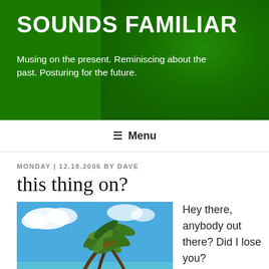SOUNDS FAMILIAR
Musing on the present. Reminiscing about the past. Posturing for the future.
≡ Menu
MONDAY | 12.18.2006 BY DAVE
this thing on?
[Figure (photo): Tropical beach scene with palm trees leaning over white sand and turquoise water under a blue sky with clouds]
Hey there, anybody out there? Did I lose you?

Safe and sound in